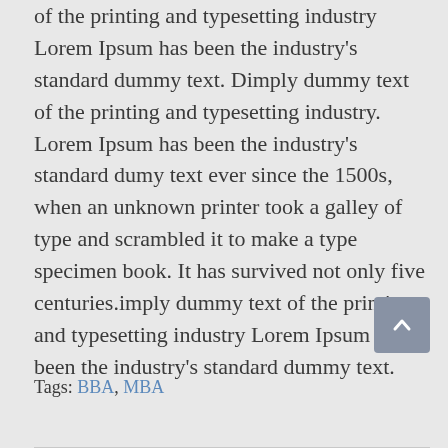of the printing and typesetting industry Lorem Ipsum has been the industry's standard dummy text. Dimply dummy text of the printing and typesetting industry. Lorem Ipsum has been the industry's standard dumy text ever since the 1500s, when an unknown printer took a galley of type and scrambled it to make a type specimen book. It has survived not only five centuries.imply dummy text of the printing and typesetting industry Lorem Ipsum has been the industry's standard dummy text.
Tags: BBA, MBA